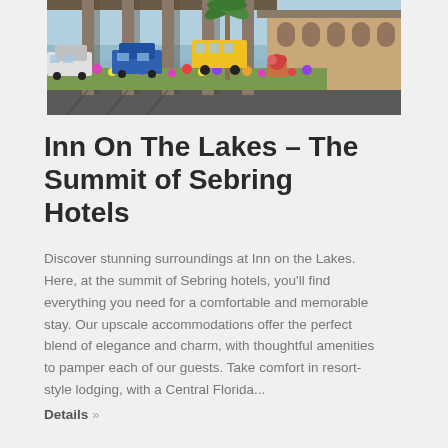[Figure (photo): Exterior photo of Inn On The Lakes hotel entrance with colorful flower beds, palm trees, columns, and parked vehicles including a school bus visible in the background near a waterway.]
Inn On The Lakes – The Summit of Sebring Hotels
Discover stunning surroundings at Inn on the Lakes. Here, at the summit of Sebring hotels, you'll find everything you need for a comfortable and memorable stay. Our upscale accommodations offer the perfect blend of elegance and charm, with thoughtful amenities to pamper each of our guests. Take comfort in resort-style lodging, with a Central Florida...
Details »